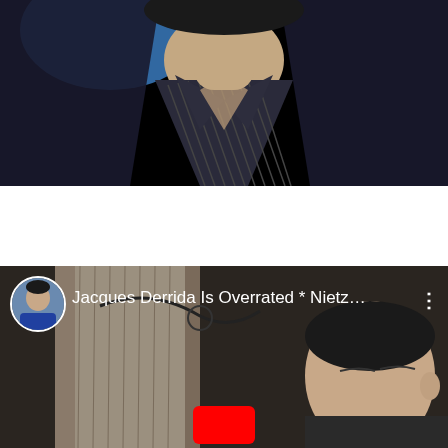[Figure (photo): Close-up photo of a person's neck and chest wearing an open dark pinstripe shirt/jacket against a black background with a blue element visible at top]
[Figure (screenshot): YouTube app screenshot showing a video thumbnail with title 'Jacques Derrida Is Overrated * Nietz...' with a circular avatar of a man in blue jacket on the left, three-dot menu on the right, and video content showing a person with curtains/window in background, with a red YouTube play button at the bottom]